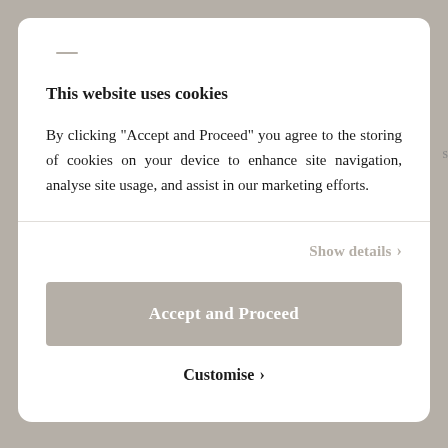This website uses cookies
By clicking "Accept and Proceed" you agree to the storing of cookies on your device to enhance site navigation, analyse site usage, and assist in our marketing efforts.
Show details ›
Accept and Proceed
Customise ›